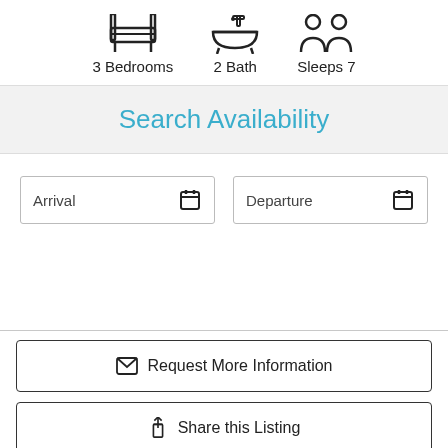[Figure (infographic): Three icons: bed (3 Bedrooms), bathtub (2 Bath), people (Sleeps 7) with labels below each]
Search Availability
Arrival [calendar icon]
Departure [calendar icon]
✉ Request More Information
⬆ Share this Listing
♡ Add Favorite